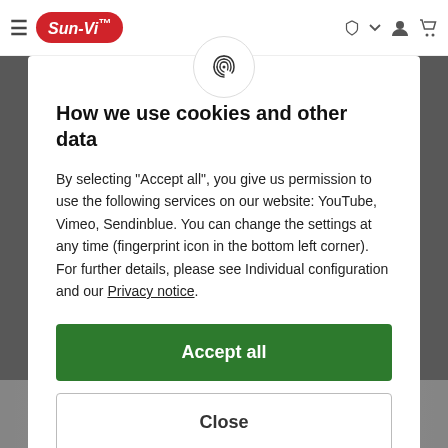Sun-Vi [logo] navigation header with hamburger menu, logo, fingerprint icon, dropdown, user icon, cart icon
[Figure (screenshot): Fingerprint icon in circular white badge at top center of modal dialog]
How we use cookies and other data
By selecting "Accept all", you give us permission to use the following services on our website: YouTube, Vimeo, Sendinblue. You can change the settings at any time (fingerprint icon in the bottom left corner). For further details, please see Individual configuration and our Privacy notice.
Accept all
Close
Configuration